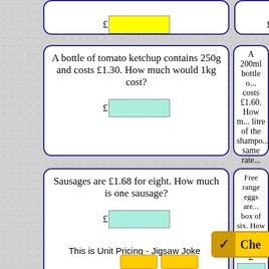[Figure (other): Partial top-left card with yellow answer input box and pound sign, cropped at top]
[Figure (other): Partial top-right card with cyan answer input box and pound sign, cropped at top]
A bottle of tomato ketchup contains 250g and costs £1.30. How much would 1kg cost?
A 200ml bottle of ... costs £1.60. How much ... litre of the shampoo ... same rate...
Sausages are £1.68 for eight. How much is one sausage?
Free range eggs are ... box of six. How much ... egg?
This is Unit Pricing - Jigsaw Joke...